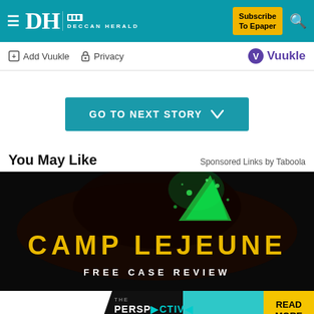DH Deccan Herald — Subscribe To Epaper
Add Vuukle  Privacy    Vuukle
GO TO NEXT STORY
You May Like
Sponsored Links by Taboola
[Figure (photo): Camp Lejeune Free Case Review advertisement — dark background with green glowing object splashing liquid, text reading CAMP LEJEUNE FREE CASE REVIEW in yellow block letters]
[Figure (screenshot): The Perspective banner ad — white left panel, dark center with PERSPECTIVE text and SEE WHAT YOU'RE MISSING subtitle, teal right section, yellow READ MORE button]